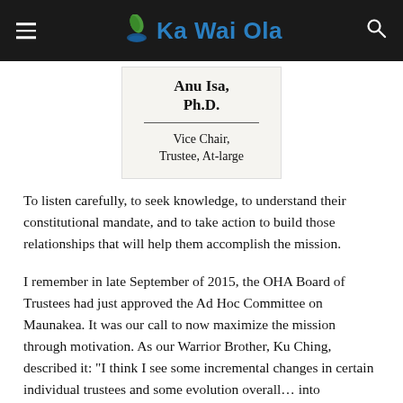Ka Wai Ola
[Figure (other): Name card showing 'Anu Isa, Ph.D.' with title 'Vice Chair, Trustee, At-large']
To listen carefully, to seek knowledge, to understand their constitutional mandate, and to take action to build those relationships that will help them accomplish the mission.
I remember in late September of 2015, the OHA Board of Trustees had just approved the Ad Hoc Committee on Maunakea. It was our call to now maximize the mission through motivation. As our Warrior Brother, Ku Ching, described it: "I think I see some incremental changes in certain individual trustees and some evolution overall… into